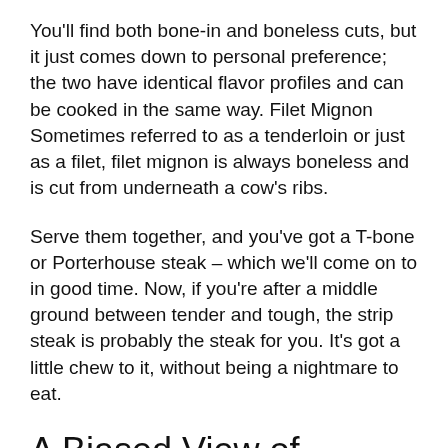You'll find both bone-in and boneless cuts, but it just comes down to personal preference; the two have identical flavor profiles and can be cooked in the same way. Filet Mignon Sometimes referred to as a tenderloin or just as a filet, filet mignon is always boneless and is cut from underneath a cow's ribs.
Serve them together, and you've got a T-bone or Porterhouse steak – which we'll come on to in good time. Now, if you're after a middle ground between tender and tough, the strip steak is probably the steak for you. It's got a little chew to it, without being a nightmare to eat.
A Biased View of What's At